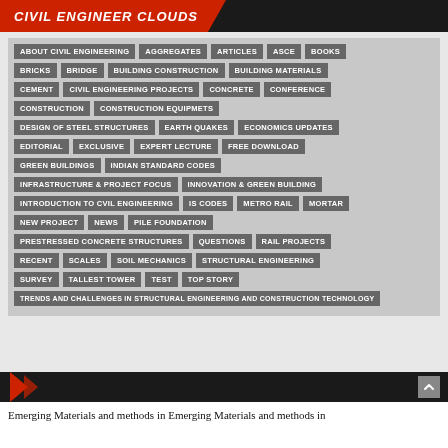CIVIL ENGINEER CLOUDS
[Figure (infographic): Tag cloud for a civil engineering website showing category tags: ABOUT CIVIL ENGINEERING, AGGREGATES, ARTICLES, ASCE, BOOKS, BRICKS, BRIDGE, BUILDING CONSTRUCTION, BUILDING MATERIALS, CEMENT, CIVIL ENGINEERING PROJECTS, CONCRETE, CONFERENCE, CONSTRUCTION, CONSTRUCTION EQUIPMETS, DESIGN OF STEEL STRUCTURES, EARTH QUAKES, ECONOMICS UPDATES, EDITORIAL, EXCLUSIVE, EXPERT LECTURE, FREE DOWNLOAD, GREEN BUILDINGS, INDIAN STANDARD CODES, INFRASTRUCTURE & PROJECT FOCUS, INNOVATION & GREEN BUILDING, INTRODUCTION TO CVIL ENGINEERING, IS CODES, METRO RAIL, MORTAR, NEW PROJECT, NEWS, PILE FOUNDATION, PRESTRESSED CONCRETE STRUCTURES, QUESTIONS, RAIL PROJECTS, RECENT, SCALES, SOIL MECHANICS, STRUCTURAL ENGINEERING, SURVEY, TALLEST TOWER, TEST, TOP STORY, TRENDS AND CHALLENGES IN STRUCTURAL ENGINEERING AND CONSTRUCTION TECHNOLOGY]
Emerging Materials and methods in Emerging Materials and methods in